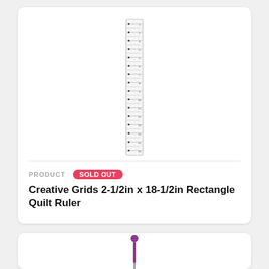[Figure (photo): A tall narrow transparent quilt ruler (Creative Grids 2-1/2in x 18-1/2in Rectangle) shown vertically, with measurement markings and dots visible along its length.]
PRODUCT  SOLD OUT
Creative Grids 2-1/2in x 18-1/2in Rectangle Quilt Ruler
[Figure (photo): A purple-handled awl or stiletto tool shown vertically, partially visible at the bottom of the page.]